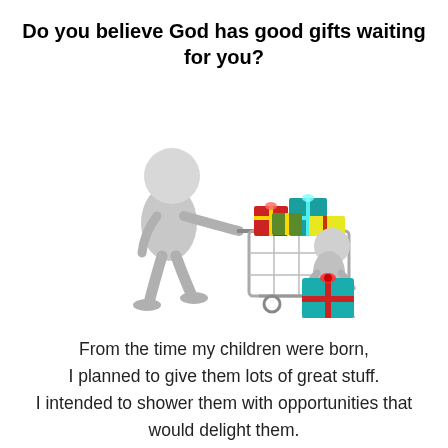Do you believe God has good gifts waiting for you?
[Figure (illustration): Two 3D white figurines: a larger one pushing a shopping cart overflowing with colorful wrapped gift boxes, and a smaller one carrying a teal gift box with a red bow.]
From the time my children were born, I planned to give them lots of great stuff. I intended to shower them with opportunities that would delight them. I was determined to give them things that would